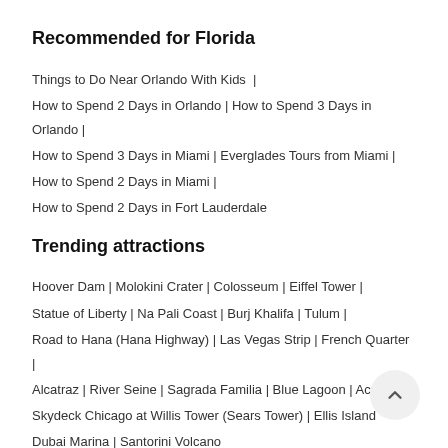Recommended for Florida
Things to Do Near Orlando With Kids |
How to Spend 2 Days in Orlando | How to Spend 3 Days in Orlando |
How to Spend 3 Days in Miami | Everglades Tours from Miami |
How to Spend 2 Days in Miami |
How to Spend 2 Days in Fort Lauderdale
Trending attractions
Hoover Dam | Molokini Crater | Colosseum | Eiffel Tower |
Statue of Liberty | Na Pali Coast | Burj Khalifa | Tulum |
Road to Hana (Hana Highway) | Las Vegas Strip | French Quarter |
Alcatraz | River Seine | Sagrada Familia | Blue Lagoon | Acropolis |
Skydeck Chicago at Willis Tower (Sears Tower) | Ellis Island
Dubai Marina | Santorini Volcano